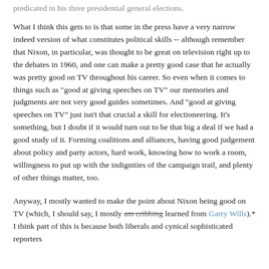predicated in his three presidential general elections.
What I think this gets to is that some in the press have a very narrow indeed version of what constitutes political skills -- although remember that Nixon, in particular, was thought to be great on television right up to the debates in 1960, and one can make a pretty good case that he actually was pretty good on TV throughout his career. So even when it comes to things such as "good at giving speeches on TV" our memories and judgments are not very good guides sometimes. And "good at giving speeches on TV" just isn't that crucial a skill for electioneering. It's something, but I doubt if it would turn out to be that big a deal if we had a good study of it. Forming coalitions and alliances, having good judgement about policy and party actors, hard work, knowing how to work a room, willingness to put up with the indignities of the campaign trail, and plenty of other things matter, too.
Anyway, I mostly wanted to make the point about Nixon being good on TV (which, I should say, I mostly am cribbing learned from Garry Wills).* I think part of this is because both liberals and cynical sophisticated reporters